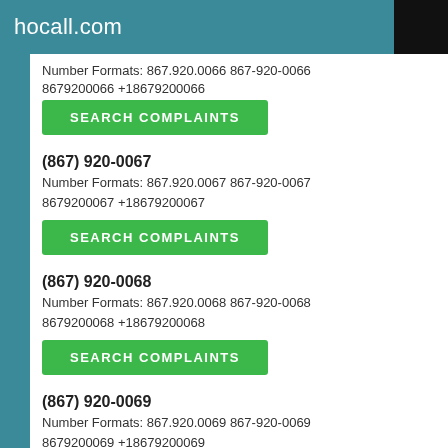hocall.com
Number Formats: 867.920.0066 867-920-0066 8679200066 +18679200066
SEARCH COMPLAINTS
(867) 920-0067
Number Formats: 867.920.0067 867-920-0067 8679200067 +18679200067
SEARCH COMPLAINTS
(867) 920-0068
Number Formats: 867.920.0068 867-920-0068 8679200068 +18679200068
SEARCH COMPLAINTS
(867) 920-0069
Number Formats: 867.920.0069 867-920-0069 8679200069 +18679200069
SEARCH COMPLAINTS
(867) 920-0070